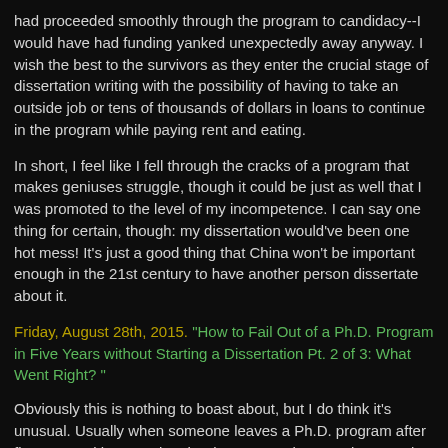had proceeded smoothly through the program to candidacy--I would have had funding yanked unexpectedly away anyway. I wish the best to the survivors as they enter the crucial stage of dissertation writing with the possibility of having to take an outside job or tens of thousands of dollars in loans to continue in the program while paying rent and eating.
In short, I feel like I fell through the cracks of a program that makes geniuses struggle, though it could be just as well that I was promoted to the level of my incompetence. I can say one thing for certain, though: my dissertation would've been one hot mess! It's just a good thing that China won't be important enough in the 21st century to have another person dissertate about it.
Friday, August 28th, 2015. "How to Fail Out of a Ph.D. Program in Five Years without Starting a Dissertation Pt. 2 of 3: What Went Right?"
Obviously this is nothing to boast about, but I do think it's unusual. Usually when someone leaves a Ph.D. program after five years without getting the degree, I gather, one is “ABD” by that time, meaning they're at some stage of the dissertation. This is when students are beyond the dangerous point of no return, having come too far to leave but also balking at taking out loans to go into a sixth, seventh, or eighth year of studies which are less and less